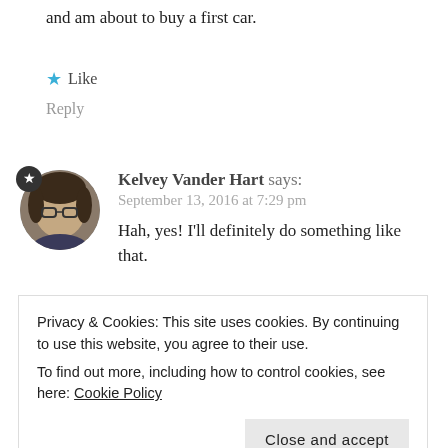and am about to buy a first car.
★ Like
Reply
[Figure (photo): Circular avatar photo of Kelvey Vander Hart, a person with glasses, with a dark circular badge containing a white star in the top-left corner of the avatar]
Kelvey Vander Hart says:
September 13, 2016 at 7:29 pm
Hah, yes! I'll definitely do something like that.
★ Like
Reply
Privacy & Cookies: This site uses cookies. By continuing to use this website, you agree to their use.
To find out more, including how to control cookies, see here: Cookie Policy
Close and accept
maintenance by a good mechanic